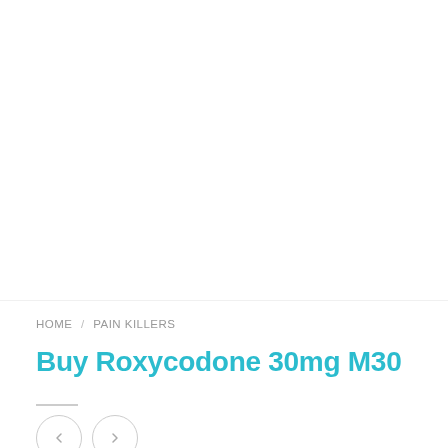[Figure (photo): White/blank product image area at top of page]
HOME / PAIN KILLERS
Buy Roxycodone 30mg M30